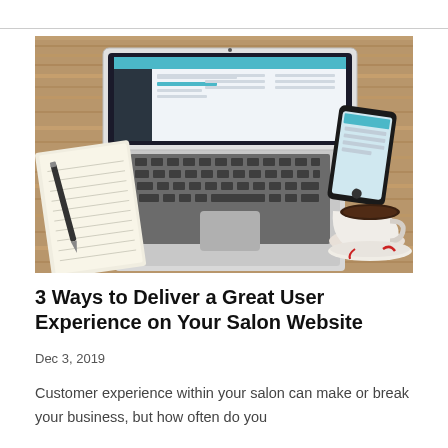[Figure (photo): A MacBook laptop open on a wooden desk showing a web dashboard/CMS interface on screen, with a notebook and pen on the left, a smartphone on the upper right, and a white coffee cup with saucer on the lower right.]
3 Ways to Deliver a Great User Experience on Your Salon Website
Dec 3, 2019
Customer experience within your salon can make or break your business, but how often do you think about the user experience on your…